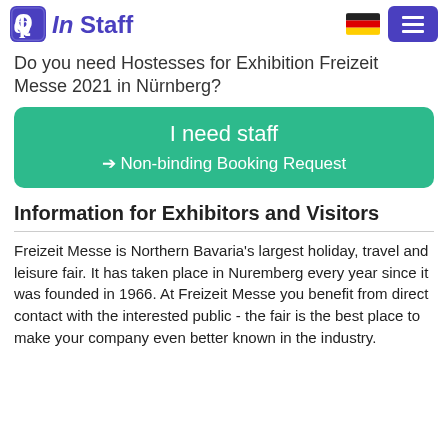InStaff
Do you need Hostesses for Exhibition Freizeit Messe 2021 in Nürnberg?
[Figure (other): Green CTA button with text 'I need staff' and '➔ Non-binding Booking Request']
Information for Exhibitors and Visitors
Freizeit Messe is Northern Bavaria's largest holiday, travel and leisure fair. It has taken place in Nuremberg every year since it was founded in 1966. At Freizeit Messe you benefit from direct contact with the interested public - the fair is the best place to make your company even better known in the industry.